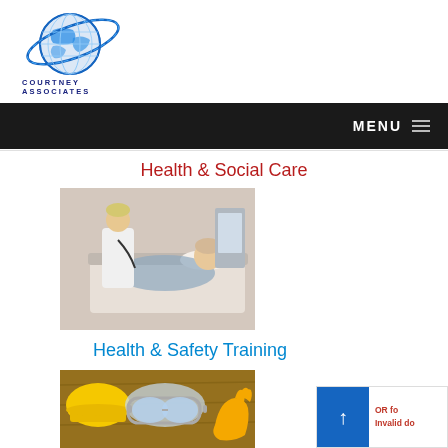[Figure (logo): Courtney Associates globe logo with blue orbital ring and text 'COURTNEY ASSOCIATES' below]
MENU
Health & Social Care
[Figure (photo): A healthcare worker in a white coat attending to a patient lying in a hospital bed]
Health & Safety Training
[Figure (photo): Safety equipment including goggles, hard hat and work gloves on a wooden surface]